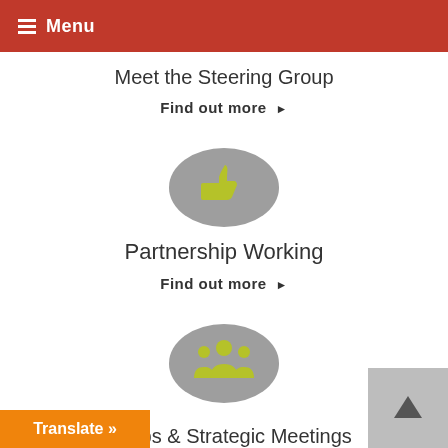Menu
Meet the Steering Group
Find out more ▶
[Figure (illustration): Grey circle with a yellow-green thumbs up icon]
Partnership Working
Find out more ▶
[Figure (illustration): Grey circle with a yellow-green group/people icon]
Groups & Strategic Meetings
Translate »
▲